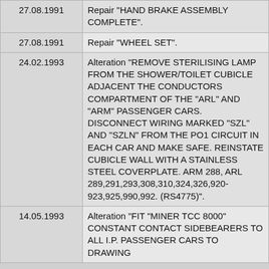| 27.08.1991 | Repair "HAND BRAKE ASSEMBLY COMPLETE". |
| 27.08.1991 | Repair "WHEEL SET". |
| 24.02.1993 | Alteration "REMOVE STERILISING LAMP FROM THE SHOWER/TOILET CUBICLE ADJACENT THE CONDUCTORS COMPARTMENT OF THE "ARL" AND "ARM" PASSENGER CARS. DISCONNECT WIRING MARKED "SZL" AND "SZLN" FROM THE PO1 CIRCUIT IN EACH CAR AND MAKE SAFE. REINSTATE CUBICLE WALL WITH A STAINLESS STEEL COVERPLATE. ARM 288, ARL 289,291,293,308,310,324,326,920-923,925,990,992. (RS4775)". |
| 14.05.1993 | Alteration "FIT "MINER TCC 8000" CONSTANT CONTACT SIDEBEARERS TO ALL I.P. PASSENGER CARS TO DRAWING... |